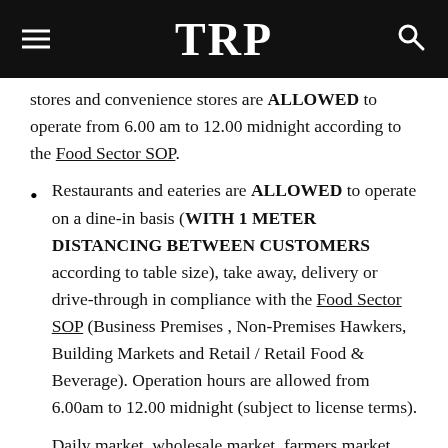TRP
stores and convenience stores are ALLOWED to operate from 6.00 am to 12.00 midnight according to the Food Sector SOP.
Restaurants and eateries are ALLOWED to operate on a dine-in basis (WITH 1 METER DISTANCING BETWEEN CUSTOMERS according to table size), take away, delivery or drive-through in compliance with the Food Sector SOP (Business Premises , Non-Premises Hawkers, Building Markets and Retail / Retail Food & Beverage). Operation hours are allowed from 6.00am to 12.00 midnight (subject to license terms).
Daily market, wholesale market, farmers market,